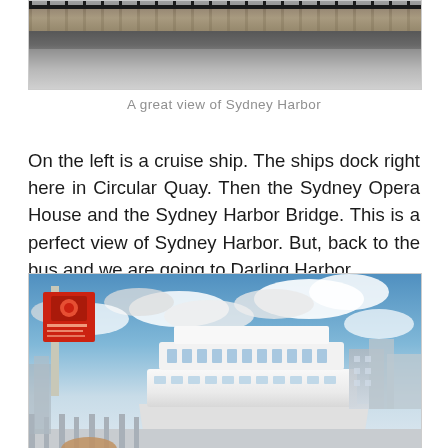[Figure (photo): Bottom portion of a photo showing a stone wall with black iron fence/railing on top, and a grey asphalt pavement/road at the bottom. This appears to be a harbor-side promenade.]
A great view of Sydney Harbor
On the left is a cruise ship.  The ships dock right here in Circular Quay.   Then the Sydney Opera House and the Sydney Harbor Bridge.   This is a perfect view of Sydney Harbor.  But, back to the bus and we are going to Darling Harbor.
[Figure (photo): Photo of a large white ferry/cruise vessel docked at Circular Quay, Sydney, with a partly cloudy blue sky in the background. A sign post with a red board is visible on the left, and some buildings are visible on the right.]